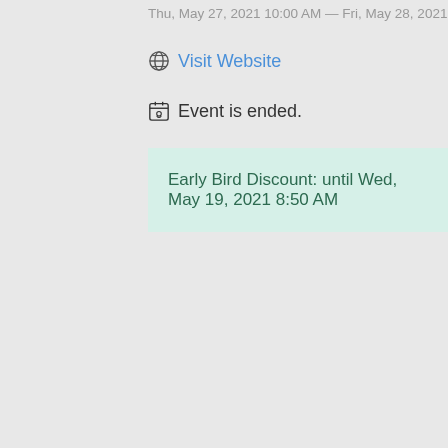Thu, May 27, 2021 10:00 AM — Fri, May 28, 2021 10:00 P
Visit Website
Event is ended.
Early Bird Discount: until Wed, May 19, 2021 8:50 AM